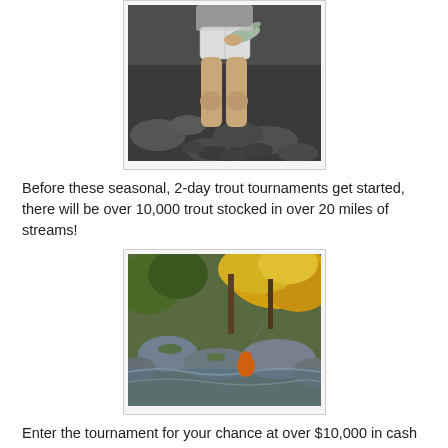[Figure (photo): Photo of a person from the waist down standing near a rocky stream, wearing white shorts, holding a fish]
Before these seasonal, 2-day trout tournaments get started, there will be over 10,000 trout stocked in over 20 miles of streams!
[Figure (photo): Photo of a mountain stream with autumn yellow foliage and a person fishing in orange gear among large rocks]
Enter the tournament for your chance at over $10,000 in cash and prizes. Spend your next vacation trout fishing in Tennessee and experience all the fun the Smokies have to offer!